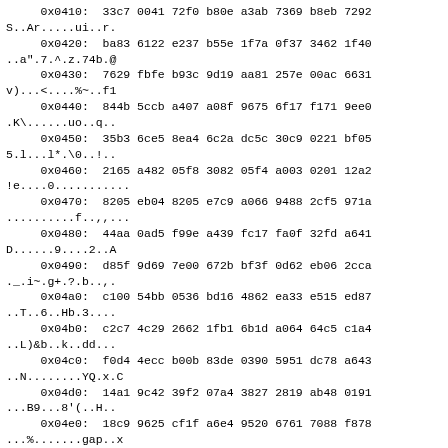0x0410:  33c7 0041 72f0 b80e a3ab 7369 b8eb 7292
S..Ar.....ui..r.
      0x0420:  ba83 6122 e237 b55e 1f7a 0f37 3462 1f40
..a".7.^.z.74b.@
      0x0430:  7629 fbfe b93c 9d19 aa81 257e 00ac 6631
v)...<....%~..f1
      0x0440:  844b 5ccb a407 a08f 9675 6f17 f171 9ee0
.K\......uo..q..
      0x0450:  35b3 6ce5 8ea4 6c2a dc5c 30c9 0221 bf05
5.l...l*.\0..!..
      0x0460:  2165 a482 05f8 3082 05f4 a003 0201 12a2
!e....0...........
      0x0470:  8205 eb04 8205 e7c9 a066 9488 2cf5 971a
..........f..,,...
      0x0480:  44aa 0ad5 f99e a439 fc17 fa0f 32fd a641
D......9....2..A
      0x0490:  d85f 9d69 7e00 672b bf3f 0d62 eb06 2cca
._.i~.g+.?.b..,.
      0x04a0:  c100 54bb 0536 bd16 4862 ea33 e515 ed87
..T..6..Hb.3....
      0x04b0:  c2c7 4c29 2662 1fb1 6b1d a064 64c5 c1a4
..L)&b..k..dd...
      0x04c0:  f0d4 4ecc b00b 83de 0390 5951 dc78 a643
..N........YQ.x.C
      0x04d0:  14a1 9c42 39f2 07a4 3827 2819 ab48 0191
...B9...8'(..H..
      0x04e0:  18c9 9625 cf1f a6e4 9520 6761 7088 f878
...%......gap..x
      0x04f0:  9169 0dfd b553 4b26 3074 ba6a 2e9b 93ef
.i...SK&0t.j....
      0x0500:...